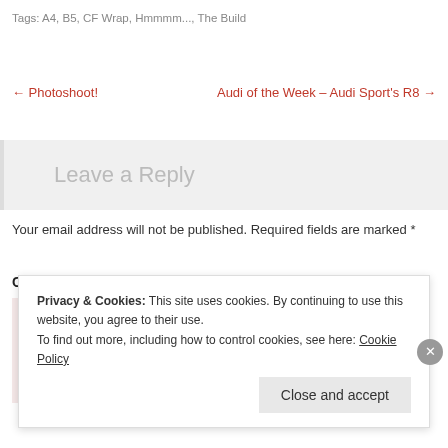Tags: A4, B5, CF Wrap, Hmmmm..., The Build
← Photoshoot!
Audi of the Week – Audi Sport's R8 →
Leave a Reply
Your email address will not be published. Required fields are marked *
Comment *
Privacy & Cookies: This site uses cookies. By continuing to use this website, you agree to their use.
To find out more, including how to control cookies, see here: Cookie Policy
Close and accept